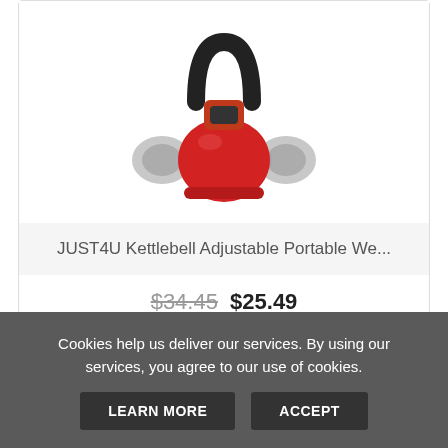[Figure (photo): JUST4U Kettlebell Adjustable Portable Weight product image — a red and black kettlebell in the foreground with a grey dumbbell partially visible behind it]
JUST4U Kettlebell Adjustable Portable We...
$34.45 $25.49
VIEW
ADD TO CART
Cookies help us deliver our services. By using our services, you agree to our use of cookies.
LEARN MORE
ACCEPT